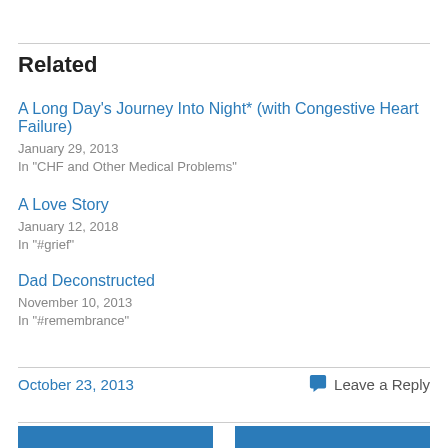Related
A Long Day's Journey Into Night* (with Congestive Heart Failure)
January 29, 2013
In "CHF and Other Medical Problems"
A Love Story
January 12, 2018
In "#grief"
Dad Deconstructed
November 10, 2013
In "#remembrance"
October 23, 2013   Leave a Reply